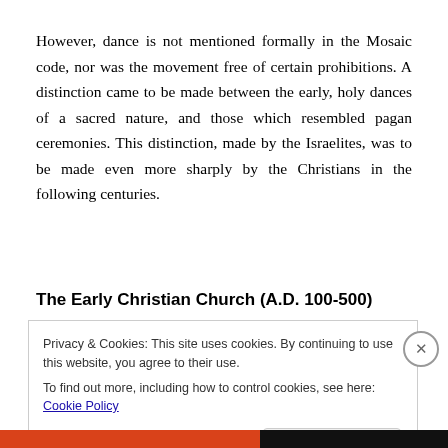However, dance is not mentioned formally in the Mosaic code, nor was the movement free of certain prohibitions. A distinction came to be made between the early, holy dances of a sacred nature, and those which resembled pagan ceremonies. This distinction, made by the Israelites, was to be made even more sharply by the Christians in the following centuries.
The Early Christian Church (A.D. 100-500)
Privacy & Cookies: This site uses cookies. By continuing to use this website, you agree to their use.
To find out more, including how to control cookies, see here: Cookie Policy